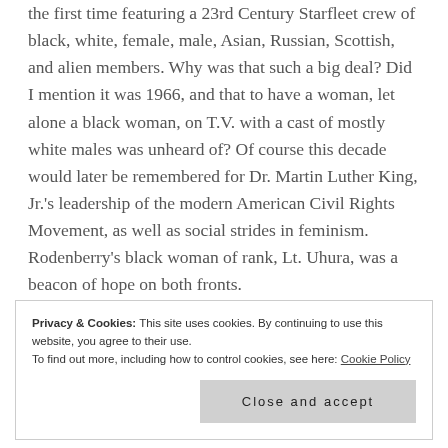the first time featuring a 23rd Century Starfleet crew of black, white, female, male, Asian, Russian, Scottish, and alien members. Why was that such a big deal? Did I mention it was 1966, and that to have a woman, let alone a black woman, on T.V. with a cast of mostly white males was unheard of? Of course this decade would later be remembered for Dr. Martin Luther King, Jr.'s leadership of the modern American Civil Rights Movement, as well as social strides in feminism. Rodenberry's black woman of rank, Lt. Uhura, was a beacon of hope on both fronts.
Privacy & Cookies: This site uses cookies. By continuing to use this website, you agree to their use. To find out more, including how to control cookies, see here: Cookie Policy
Close and accept